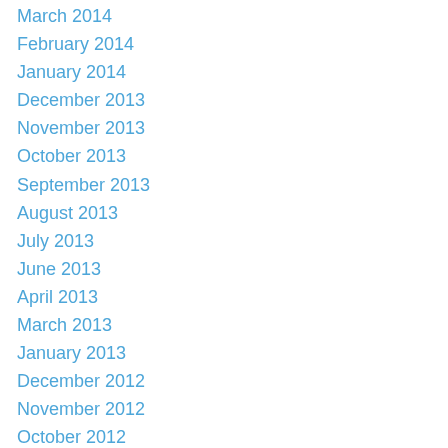March 2014
February 2014
January 2014
December 2013
November 2013
October 2013
September 2013
August 2013
July 2013
June 2013
April 2013
March 2013
January 2013
December 2012
November 2012
October 2012
September 2012
August 2012
July 2012
June 2012